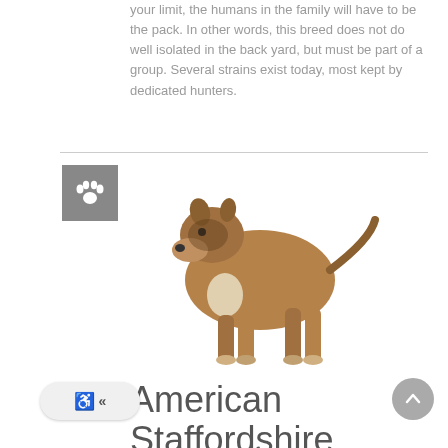your limit, the humans in the family will have to be the pack. In other words, this breed does not do well isolated in the back yard, but must be part of a group. Several strains exist today, most kept by dedicated hunters.
[Figure (illustration): Gray square icon with white paw print]
[Figure (photo): American Staffordshire Terrier dog standing in profile view, brown and white coloring, on white background]
American Staffordshire Terrier